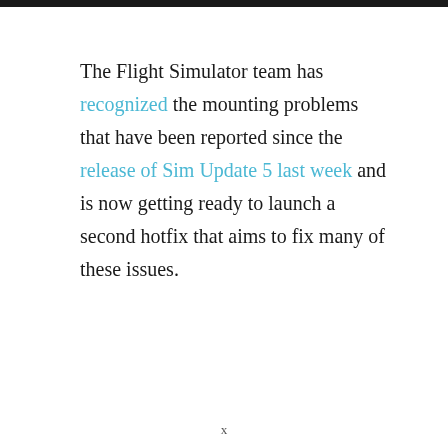The Flight Simulator team has recognized the mounting problems that have been reported since the release of Sim Update 5 last week and is now getting ready to launch a second hotfix that aims to fix many of these issues.
x